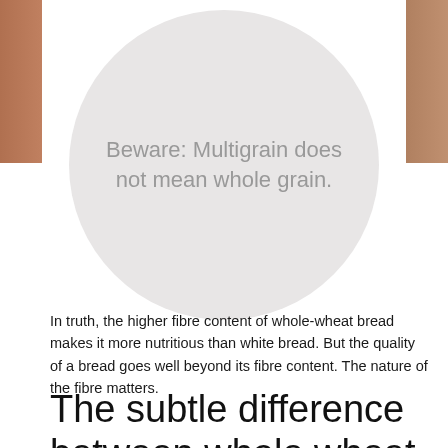[Figure (illustration): Light gray circle centered on white background with brown photo strips on the left and right edges at the top of the page]
Beware: Multigrain does not mean whole grain.
In truth, the higher fibre content of whole-wheat bread makes it more nutritious than white bread. But the quality of a bread goes well beyond its fibre content. The nature of the fibre matters.
The subtle difference between whole wheat and